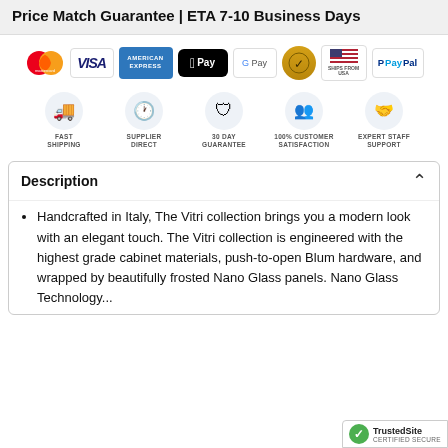Price Match Guarantee | ETA 7-10 Business Days
[Figure (infographic): Payment method icons: Mastercard, Visa, American Express, Apple Pay, Google Pay, gold shield badge, Ships from USA flag, PayPal]
[Figure (infographic): Trust badges: Fast Shipping, Supplier Direct, 30 Day Guarantee, 100% Customer Satisfaction, Expert Staff Support]
Description
Handcrafted in Italy, The Vitri collection brings you a modern look with an elegant touch. The Vitri collection is engineered with the highest grade cabinet materials, push-to-open Blum hardware, and wrapped by beautifully frosted Nano Glass panels. Nano Glass Technology...